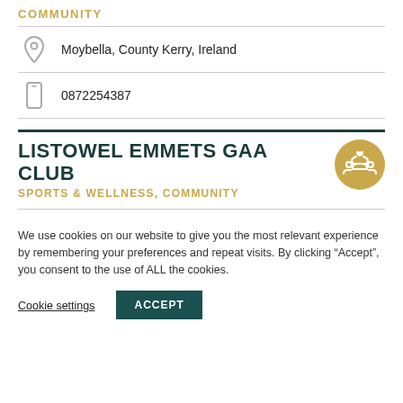COMMUNITY
Moybella, County Kerry, Ireland
0872254387
LISTOWEL EMMETS GAA CLUB
SPORTS & WELLNESS, COMMUNITY
We use cookies on our website to give you the most relevant experience by remembering your preferences and repeat visits. By clicking “Accept”, you consent to the use of ALL the cookies.
Cookie settings
ACCEPT